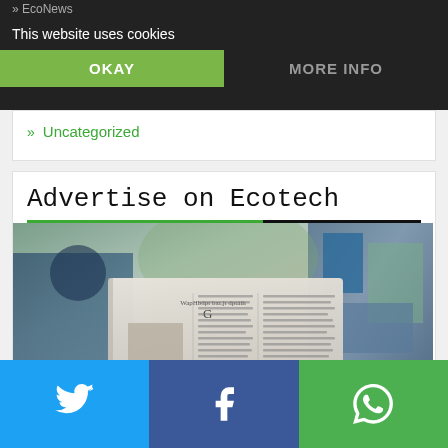This website uses cookies
OKAY
MORE INFO
» Uncategorized
Advertise on Ecotech
[Figure (photo): Person holding open newspaper in front of their face, outdoors with blurred colorful background]
Twitter | Facebook | WhatsApp social share buttons